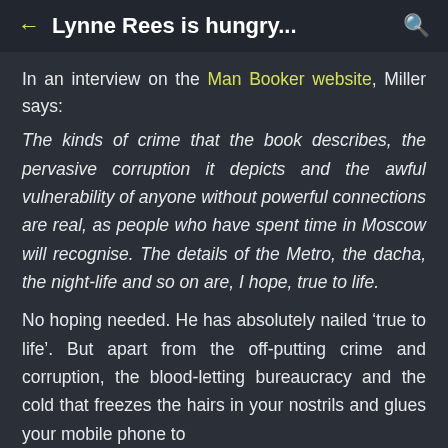Lynne Rees is hungry...
In an interview on the Man Booker website, Miller says:
The kinds of crime that the book describes, the pervasive corruption it depicts and the awful vulnerability of anyone without powerful connections are real, as people who have spent time in Moscow will recognise. The details of the Metro, the dacha, the night-life and so on are, I hope, true to life.
No hoping needed. He has absolutely nailed ‘true to life’. But apart from the off-putting crime and corruption, the blood-letting bureaucracy and the cold that freezes the hairs in your nostrils and glues your mobile phone to